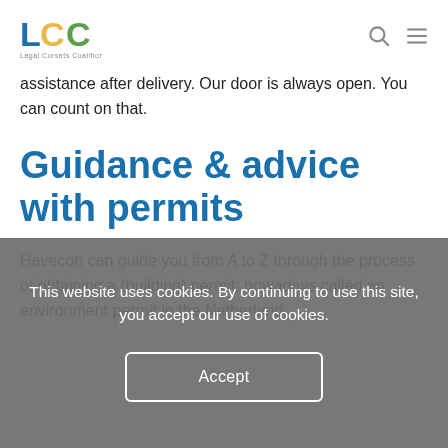LCC [logo] | [search icon] [menu icon]
assistance after delivery. Our door is always open. You can count on that.
Guidance & advice with permits
Havecon can guide you from A to Z through the process of obtaining a (building) permit; nowadays called an environment permit in the Netherlands.
This website uses cookies. By continuing to use this site, you accept our use of cookies.
Accept